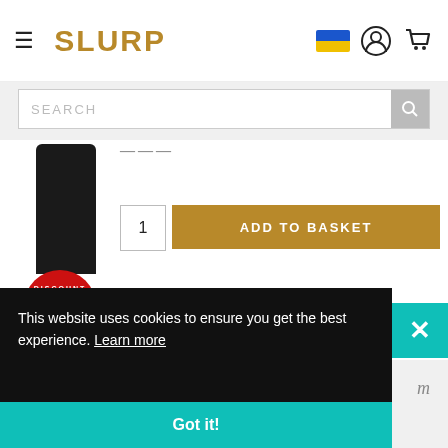SLURP — website header with hamburger menu, logo, Ukraine flag, account icon, cart icon, and search bar
[Figure (screenshot): Product card showing a black cylindrical bottle with a red circular discount badge reading 'DISCOUNT 30% OFF DISCOUNT']
1
ADD TO BASKET
Mirabeau Rosé Gin
This website uses cookies to ensure you get the best experience. Learn more
Got it!